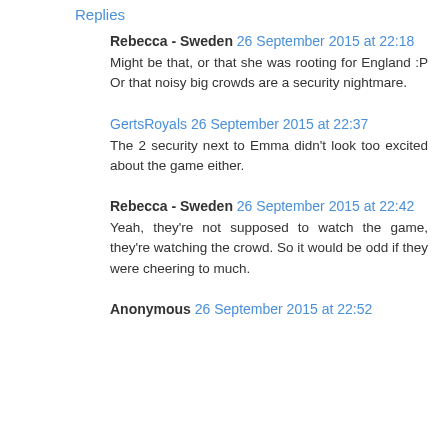Replies
Rebecca - Sweden 26 September 2015 at 22:18
Might be that, or that she was rooting for England :P Or that noisy big crowds are a security nightmare.
GertsRoyals 26 September 2015 at 22:37
The 2 security next to Emma didn't look too excited about the game either.
Rebecca - Sweden 26 September 2015 at 22:42
Yeah, they're not supposed to watch the game, they're watching the crowd. So it would be odd if they were cheering to much.
Anonymous 26 September 2015 at 22:52